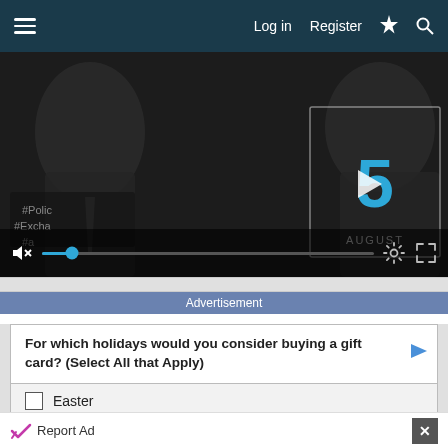≡   Log in   Register   ⚡   🔍
[Figure (screenshot): Video player showing '5 AUGUST' with a play button overlay, mute icon, progress bar with blue scrubber dot, gear and fullscreen icons on dark background with politicians in background]
Advertisement
For which holidays would you consider buying a gift card? (Select All that Apply)
Easter
Thanksgiving
Report Ad